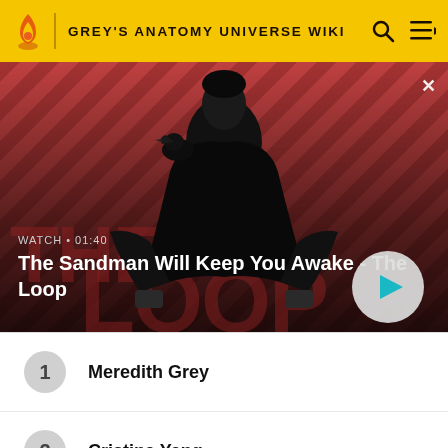GREY'S ANATOMY UNIVERSE WIKI
[Figure (screenshot): Video thumbnail showing a man in black with a raven on his shoulder against a red diagonal striped background. Title reads 'The Sandman Will Keep You Awake - The Loop'. Watch duration 01:40. Play button visible.]
1  Meredith Grey
2  Cristina Yang